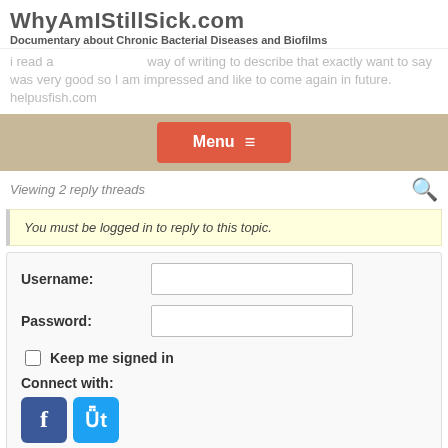WhyAmIStillSick.com
Documentary about Chronic Bacterial Diseases and Biofilms
I read a ... way of writing to describe that exactly want to say was very good so I am impressed and like to come again in future. helpusfish.com
Menu ☰
Viewing 2 reply threads
You must be logged in to reply to this topic.
Username:
Password:
Keep me signed in
Connect with:
Secured by OneAll Social Login